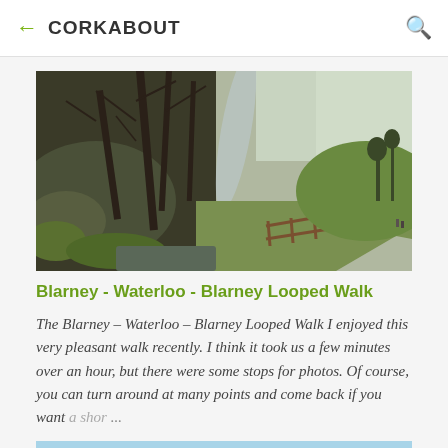CORKABOUT
[Figure (photo): Woodland walk path with bare trees, mossy rocks, stream, and a paved path with wooden fence disappearing into green hillside]
Blarney - Waterloo - Blarney Looped Walk
The Blarney – Waterloo – Blarney Looped Walk I enjoyed this very pleasant walk recently. I think it took us a few minutes over an hour, but there were some stops for photos. Of course, you can turn around at many points and come back if you want a shor ...
[Figure (photo): Partial view of second article image showing blue sky and treetops]